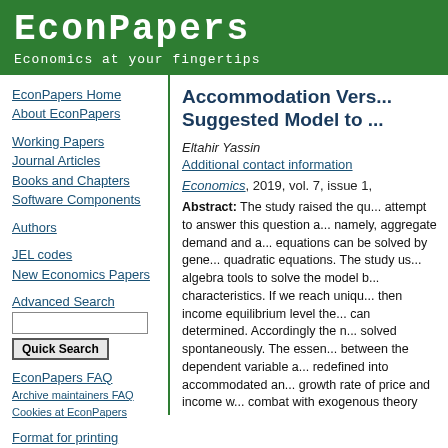EconPapers
Economics at your fingertips
EconPapers Home
About EconPapers
Working Papers
Journal Articles
Books and Chapters
Software Components
Authors
JEL codes
New Economics Papers
Advanced Search
EconPapers FAQ
Archive maintainers FAQ
Cookies at EconPapers
Format for printing
Accommodation Vers... Suggested Model to ...
Eltahir Yassin
Additional contact information
Economics, 2019, vol. 7, issue 1,
Abstract: The study raised the qu... attempt to answer this question a... namely, aggregate demand and a... equations can be solved by gene... quadratic equations. The study us... algebra tools to solve the model b... characteristics. If we reach uniqu... then income equilibrium level the... can determined. Accordingly the n... solved spontaneously. The essen... between the dependent variable a... redefined into accommodated an... growth rate of price and income w... combat with exogenous theory of...